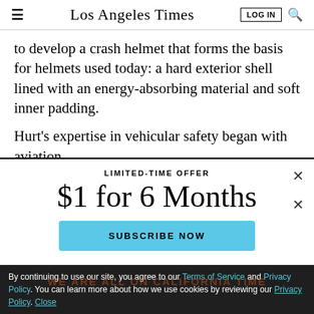Los Angeles Times
to develop a crash helmet that forms the basis for helmets used today: a hard exterior shell lined with an energy-absorbing material and soft inner padding.
Hurt's expertise in vehicular safety began with aviation.
LIMITED-TIME OFFER
$1 for 6 Months
SUBSCRIBE NOW
By continuing to use our site, you agree to our Terms of Service and Privacy Policy. You can learn more about how we use cookies by reviewing our Privacy Policy. Close